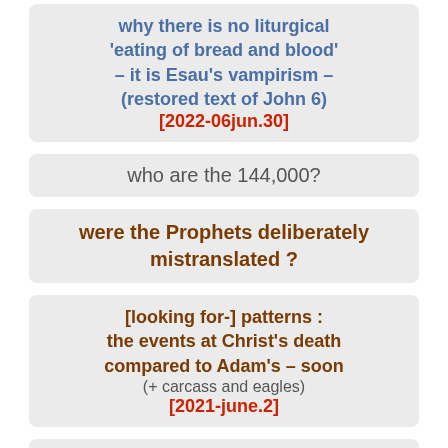why there is no liturgical 'eating of bread and blood' – it is Esau's vampirism – (restored text of John 6) [2022-06jun.30]
who are the 144,000?
were the Prophets deliberately mistranslated ?
[looking for-] patterns : the events at Christ's death compared to Adam's – soon (+ carcass and eagles) [2021-june.2]
Egytian tomb mural :